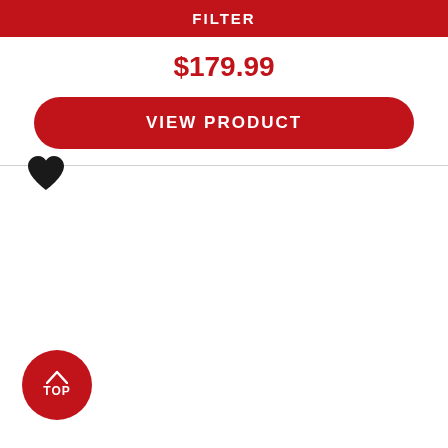FILTER
$179.99
VIEW PRODUCT
[Figure (illustration): Heart (favorites) icon — solid black heart shape]
[Figure (illustration): Red circular back-to-top button with upward arrow and text TOP]